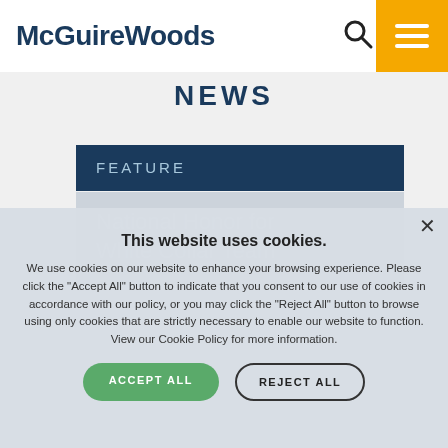McGuireWoods
NEWS
FEATURE
National Honor for White Collar Team
This website uses cookies. We use cookies on our website to enhance your browsing experience. Please click the "Accept All" button to indicate that you consent to our use of cookies in accordance with our policy, or you may click the "Reject All" button to browse using only cookies that are strictly necessary to enable our website to function. View our Cookie Policy for more information.